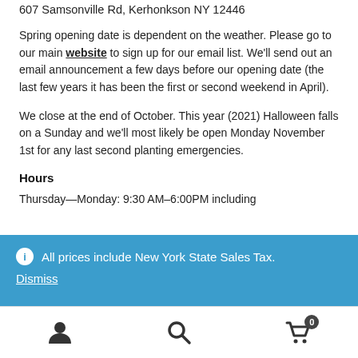607 Samsonville Rd, Kerhonkson NY 12446
Spring opening date is dependent on the weather. Please go to our main website to sign up for our email list. We'll send out an email announcement a few days before our opening date (the last few years it has been the first or second weekend in April).
We close at the end of October. This year (2021) Halloween falls on a Sunday and we'll most likely be open Monday November 1st for any last second planting emergencies.
Hours
Thursday—Monday: 9:30 AM–6:00PM including
All prices include New York State Sales Tax.
Dismiss